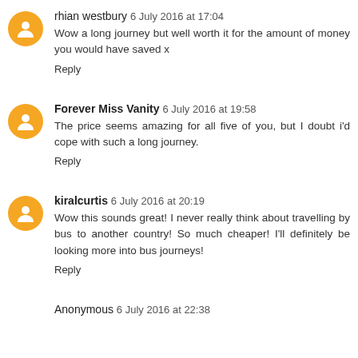rhian westbury 6 July 2016 at 17:04
Wow a long journey but well worth it for the amount of money you would have saved x
Reply
Forever Miss Vanity 6 July 2016 at 19:58
The price seems amazing for all five of you, but I doubt i'd cope with such a long journey.
Reply
kiralcurtis 6 July 2016 at 20:19
Wow this sounds great! I never really think about travelling by bus to another country! So much cheaper! I'll definitely be looking more into bus journeys!
Reply
Anonymous 6 July 2016 at 22:38